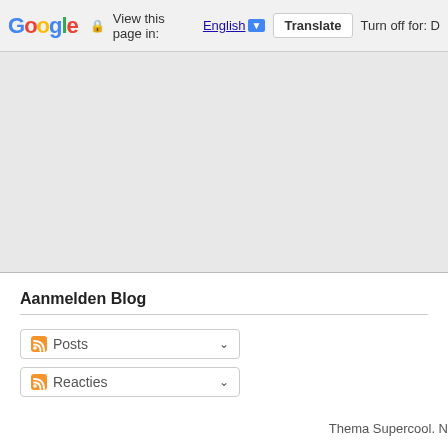Google  View this page in: English ▼  Translate  Turn off for: D
[Figure (other): Gray banner/advertisement placeholder area]
Aanmelden Blog
Posts ▾
Reacties ▾
Thema Supercool. N